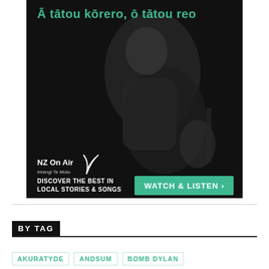[Figure (illustration): NZ On Air advertisement banner. Dark/black background with a person holding a guitar, looking upward. Teal/green text at top reads 'Ā tātou kōrero, ō tātou reo'. NZ On Air Irirangi Te Motu logo with feather icon at bottom left. White text 'DISCOVER THE BEST IN LOCAL STORIES & SONGS'. Green button 'WATCH & LISTEN >'.]
BY TAG
AKURATYDE
ANDSUM
BOMB DYLAN